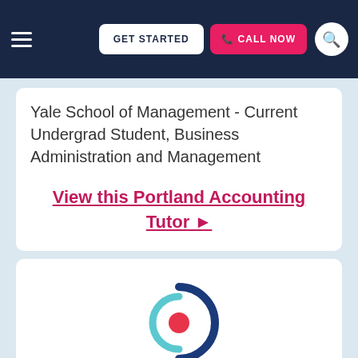GET STARTED | CALL NOW
Yale School of Management - Current Undergrad Student, Business Administration and Management
View this Portland Accounting Tutor ▶
[Figure (logo): Circular logo with concentric arcs in blue and teal, with a red/pink circle in the center]